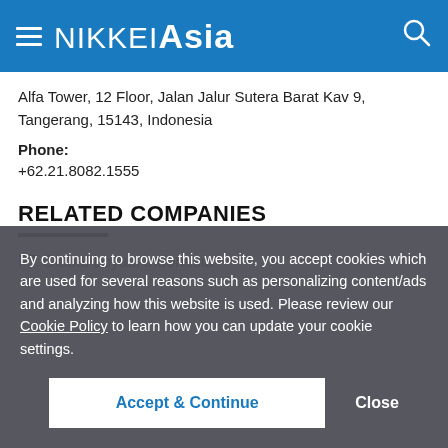NIKKEI Asia
Alfa Tower, 12 Floor, Jalan Jalur Sutera Barat Kav 9, Tangerang, 15143, Indonesia
Phone: +62.21.8082.1555
RELATED COMPANIES
PT Global Loyalti Indonesia
By continuing to browse this website, you accept cookies which are used for several reasons such as personalizing content/ads and analyzing how this website is used. Please review our Cookie Policy to learn how you can update your cookie settings.